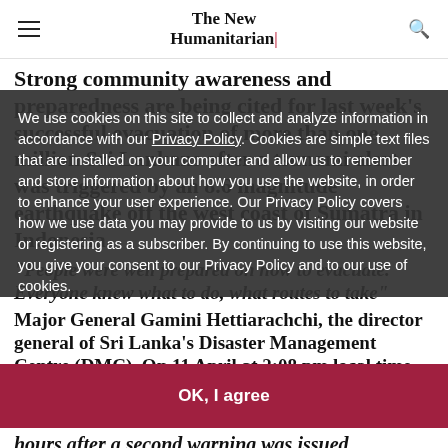The New Humanitarian
Strong community awareness and preparedness are being cited for last week's successful evacuation of more than one million Sri Lankans after a tsunami alert was triggered by an 8.6 magnitude earthquake off the west coast of Sumatra in Indonesia.
"People were well prepared on how to evacuate. Everyone knew what to do, what routes to take" - Major General Gamini Hettiarachchi, the director general of Sri Lanka's Disaster Management Centre (DMC). On 11 April at 2:08 pm local time, less than an hour after the quake, Sri Lanka's
We use cookies on this site to collect and analyze information in accordance with our Privacy Policy. Cookies are simple text files that are installed on your computer and allow us to remember and store information about how you use the website, in order to enhance your user experience. Our Privacy Policy covers how we use data you may provide to us by visiting our website or registering as a subscriber. By continuing to use this website, you give your consent to our Privacy Policy and to our use of cookies.
OK, I agree
hours after a second warning was issued following an 8.2 aftershock.